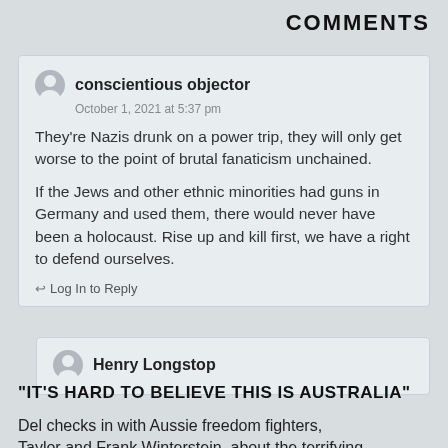COMMENTS
conscientious objector
October 1, 2021 at 5:37 pm

They're Nazis drunk on a power trip, they will only get worse to the point of brutal fanaticism unchained.

If the Jews and other ethnic minorities had guns in Germany and used them, there would never have been a holocaust. Rise up and kill first, we have a right to defend ourselves.

↩ Log In to Reply
Henry Longstop
“IT’S HARD TO BELIEVE THIS IS AUSTRALIA”
Del checks in with Aussie freedom fighters, Taylor and Frank Winterstein, about the terrifying